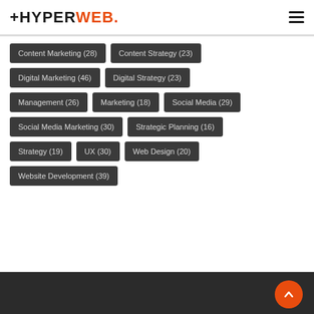HYPERWEB.
Content Marketing (28)
Content Strategy (23)
Digital Marketing (46)
Digital Strategy (23)
Management (26)
Marketing (18)
Social Media (29)
Social Media Marketing (30)
Strategic Planning (16)
Strategy (19)
UX (30)
Web Design (20)
Website Development (39)